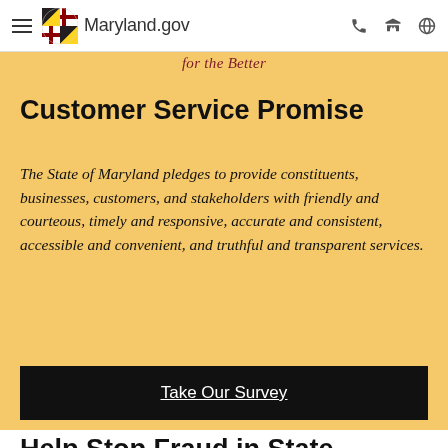Maryland.gov
for the Better
Customer Service Promise
The State of Maryland pledges to provide constituents, businesses, customers, and stakeholders with friendly and courteous, timely and responsive, accurate and consistent, accessible and convenient, and truthful and transparent services.
Take Our Survey
Help Stop Fraud in State Government